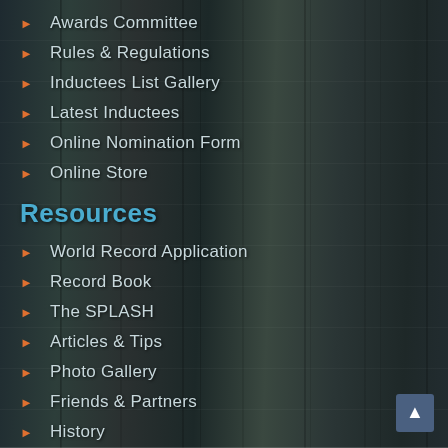Awards Committee
Rules & Regulations
Inductees List Gallery
Latest Inductees
Online Nomination Form
Online Store
Resources
World Record Application
Record Book
The SPLASH
Articles & Tips
Photo Gallery
Friends & Partners
History
Memorials